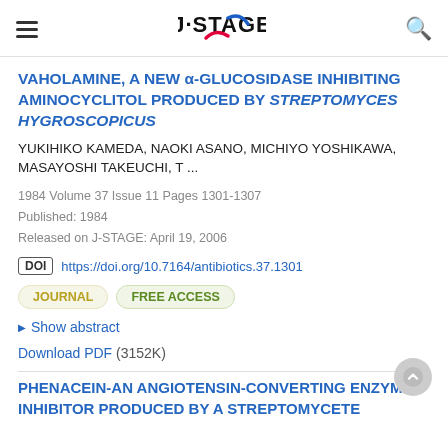J-STAGE
VAHOLAMINE, A NEW α-GLUCOSIDASE INHIBITING AMINOCYCLITOL PRODUCED BY STREPTOMYCES HYGROSCOPICUS
YUKIHIKO KAMEDA, NAOKI ASANO, MICHIYO YOSHIKAWA, MASAYOSHI TAKEUCHI, T ...
1984 Volume 37 Issue 11 Pages 1301-1307
Published: 1984
Released on J-STAGE: April 19, 2006
DOI https://doi.org/10.7164/antibiotics.37.1301
JOURNAL   FREE ACCESS
Show abstract
Download PDF (3152K)
PHENACEIN-AN ANGIOTENSIN-CONVERTING ENZYME INHIBITOR PRODUCED BY A STREPTOMYCETE